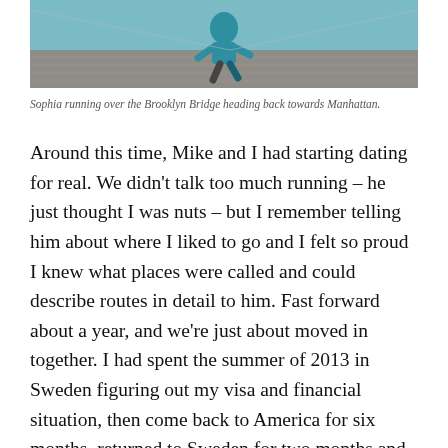[Figure (photo): A person in a teal/blue jacket running over the Brooklyn Bridge heading back towards Manhattan, viewed from behind, with wooden planks and bridge cables visible.]
Sophia running over the Brooklyn Bridge heading back towards Manhattan.
Around this time, Mike and I had starting dating for real. We didn't talk too much running – he just thought I was nuts – but I remember telling him about where I liked to go and I felt so proud I knew what places were called and could describe routes in detail to him. Fast forward about a year, and we're just about moved in together. I had spent the summer of 2013 in Sweden figuring out my visa and financial situation, then come back to America for six months, returned to Sweden for two months and then in April 2014, I made the definite move and this time, I